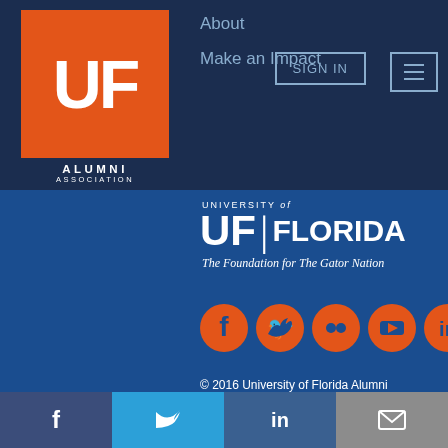[Figure (logo): UF Alumni Association logo - orange square with UF letters in white, ALUMNI ASSOCIATION text below in dark navy bar]
About
Make an Impact
SIGN IN
[Figure (logo): University of Florida logo - UF block letters with FLORIDA text and 'The Foundation for The Gator Nation' tagline, in white on blue]
[Figure (infographic): Five orange circular social media icons: Facebook, Twitter, Flickr/Picassa, YouTube, LinkedIn]
© 2016 University of Florida Alumni Association. All Rights Reserved
Site Designed by Brightfind and Powered by Higher Logic
[Figure (photo): Partial view of UF campus building with orange dome, photo cropped at bottom of page]
f  |  in  |  mail icon tabs at bottom